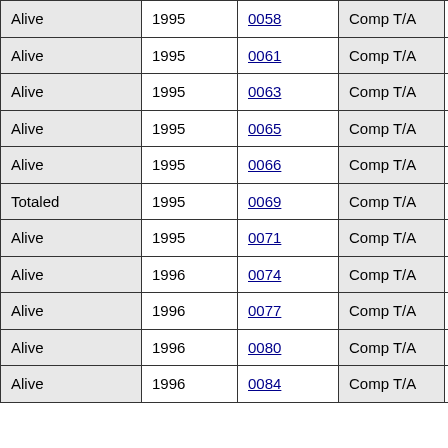| Status | Year | ID | Type |  |
| --- | --- | --- | --- | --- |
| Alive | 1995 | 0058 | Comp T/A |  |
| Alive | 1995 | 0061 | Comp T/A |  |
| Alive | 1995 | 0063 | Comp T/A |  |
| Alive | 1995 | 0065 | Comp T/A |  |
| Alive | 1995 | 0066 | Comp T/A |  |
| Totaled | 1995 | 0069 | Comp T/A |  |
| Alive | 1995 | 0071 | Comp T/A |  |
| Alive | 1996 | 0074 | Comp T/A |  |
| Alive | 1996 | 0077 | Comp T/A |  |
| Alive | 1996 | 0080 | Comp T/A |  |
| Alive | 1996 | 0084 | Comp T/A |  |